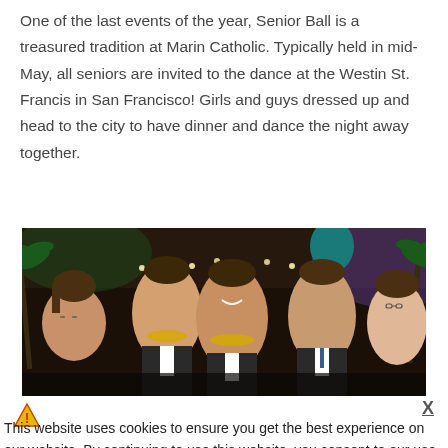One of the last events of the year, Senior Ball is a treasured tradition at Marin Catholic. Typically held in mid-May, all seniors are invited to the dance at the Westin St. Francis in San Francisco! Girls and guys dressed up and head to the city to have dinner and dance the night away together.
[Figure (photo): Group photo of five young people (four males and one female) in formal attire at what appears to be a school dance or prom event, with colorful lights and palm tree decorations in the background.]
This website uses cookies to ensure you get the best experience on our website. By continuing to use this website, you consent to our use of these cookies.